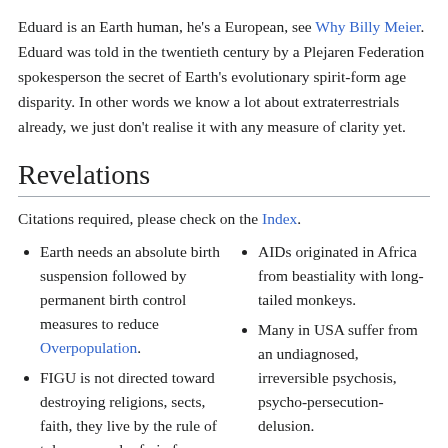Eduard is an Earth human, he's a European, see Why Billy Meier. Eduard was told in the twentieth century by a Plejaren Federation spokesperson the secret of Earth's evolutionary spirit-form age disparity. In other words we know a lot about extraterrestrials already, we just don't realise it with any measure of clarity yet.
Revelations
Citations required, please check on the Index.
Earth needs an absolute birth suspension followed by permanent birth control measures to reduce Overpopulation.
FIGU is not directed toward destroying religions, sects, faith, they live by the rule of tolerance and refrain from
AIDs originated in Africa from beastiality with long-tailed monkeys.
Many in USA suffer from an undiagnosed, irreversible psychosis, psycho-persecution-delusion.
40,353,607 races originally